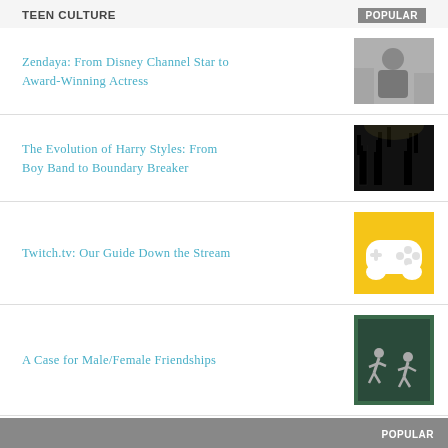TEEN CULTURE
POPULAR
Zendaya: From Disney Channel Star to Award-Winning Actress
The Evolution of Harry Styles: From Boy Band to Boundary Breaker
Twitch.tv: Our Guide Down the Stream
A Case for Male/Female Friendships
POPULAR